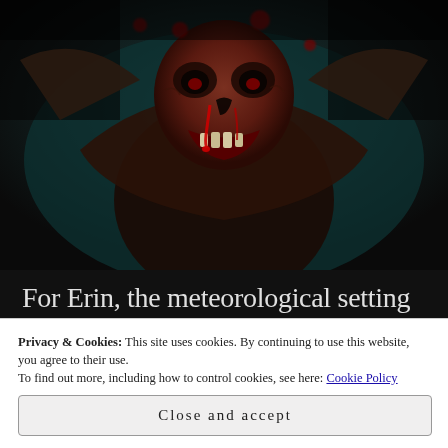[Figure (photo): Horror movie still showing a grotesque, bloody creature leaning forward against a dark teal background, with decayed flesh and bared teeth.]
For Erin, the meteorological setting of the film was brought into question, for winter is seen more as the time of starvation and would have befit the film better. Set at the dirty end of autumn, Jack o' Lanterns still on
Privacy & Cookies: This site uses cookies. By continuing to use this website, you agree to their use.
To find out more, including how to control cookies, see here: Cookie Policy
Close and accept